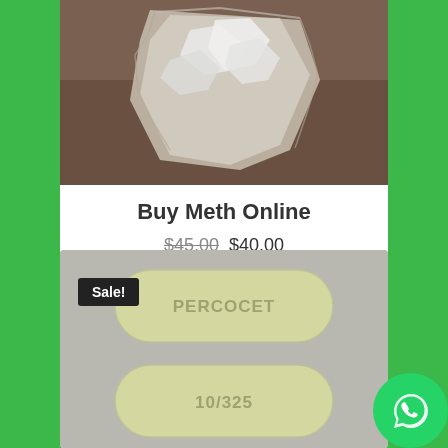[Figure (photo): Photo of crystalline substance in a plastic bag on a brown surface]
Buy Meth Online
$45.00 $40.00
[Figure (photo): Two yellow oval Percocet pills labeled PERCOCET and 10/325 on a gray background, with a Sale! badge]
[Figure (other): WhatsApp contact button icon]